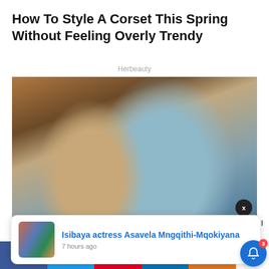How To Style A Corset This Spring Without Feeling Overly Trendy
Herbeauty
[Figure (photo): A couple leaning close together smiling, woman with long wavy hair in a beige jacket, man in light blue shirt, stone wall background]
Isibaya actress Asavela Mngqithi-Mqokiyana
7 hours ago
xperience. We'll out if you wish